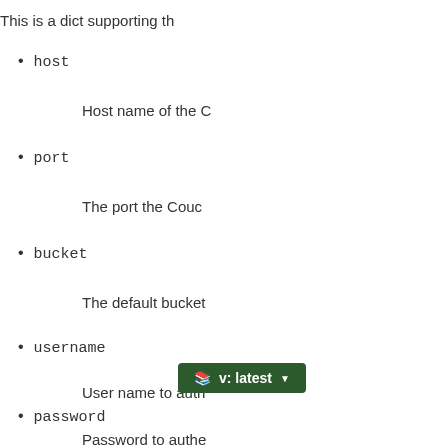This is a dict supporting th
host
Host name of the C
port
The port the Couc
bucket
The default bucket
username
User name to auth
password
Password to authe